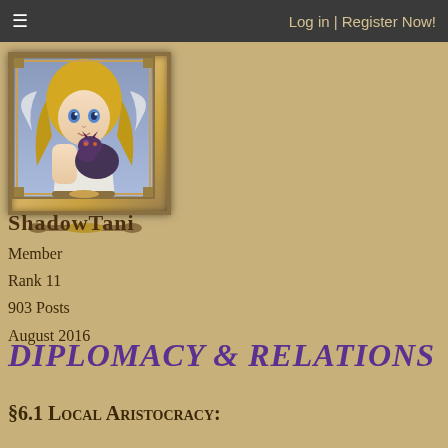☰   Log in | Register Now!
[Figure (illustration): Character artwork in ornate frame: anime-style blonde female character with blue eyes holding a small dark dragon creature, framed in a gold decorative card border]
ShadowTani
Member
Rank 11
903 Posts
August 2016
Diplomacy & Relations
§6.1 Local Aristocracy:
Settlement Diversity: